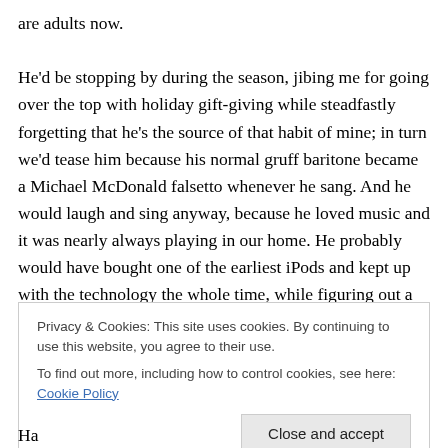are adults now.

He'd be stopping by during the season, jibing me for going over the top with holiday gift-giving while steadfastly forgetting that he's the source of that habit of mine; in turn we'd tease him because his normal gruff baritone became a Michael McDonald falsetto whenever he sang. And he would laugh and sing anyway, because he loved music and it was nearly always playing in our home. He probably would have bought one of the earliest iPods and kept up with the technology the whole time, while figuring out a
Privacy & Cookies: This site uses cookies. By continuing to use this website, you agree to their use.
To find out more, including how to control cookies, see here: Cookie Policy
Close and accept
Ha